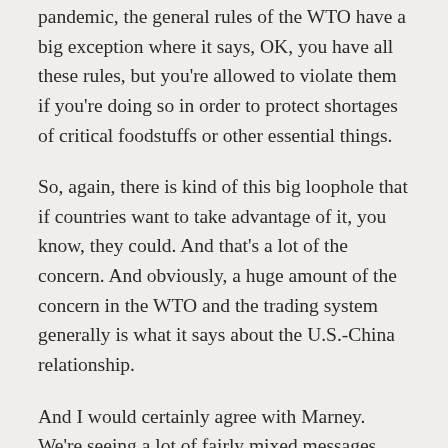pandemic, the general rules of the WTO have a big exception where it says, OK, you have all these rules, but you're allowed to violate them if you're doing so in order to protect shortages of critical foodstuffs or other essential things.
So, again, there is kind of this big loophole that if countries want to take advantage of it, you know, they could. And that's a lot of the concern. And obviously, a huge amount of the concern in the WTO and the trading system generally is what it says about the U.S.-China relationship.
And I would certainly agree with Marney. We're seeing a lot of fairly mixed messages. You know, on the one hand, I think there was early on this whole